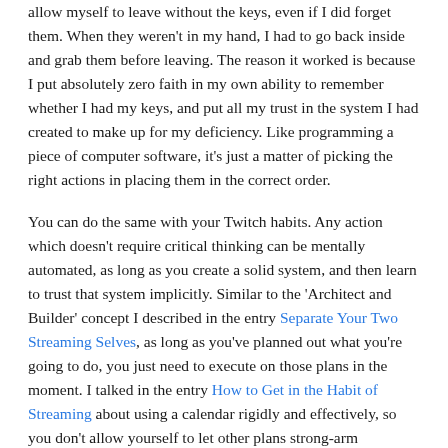allow myself to leave without the keys, even if I did forget them. When they weren't in my hand, I had to go back inside and grab them before leaving. The reason it worked is because I put absolutely zero faith in my own ability to remember whether I had my keys, and put all my trust in the system I had created to make up for my deficiency. Like programming a piece of computer software, it's just a matter of picking the right actions in placing them in the correct order.
You can do the same with your Twitch habits. Any action which doesn't require critical thinking can be mentally automated, as long as you create a solid system, and then learn to trust that system implicitly. Similar to the 'Architect and Builder' concept I described in the entry Separate Your Two Streaming Selves, as long as you've planned out what you're going to do, you just need to execute on those plans in the moment. I talked in the entry How to Get in the Habit of Streaming about using a calendar rigidly and effectively, so you don't allow yourself to let other plans strong-arm streaming out of your days. In Your Twitch Channel Needs an Elevator Pitch, I helped you to pre-plan your channel introduction...